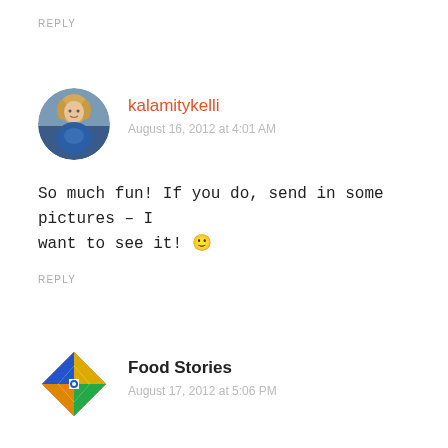REPLY
kalamitykelli
August 16, 2012 at 4:01 AM
So much fun! If you do, send in some pictures – I want to see it! 🙂
REPLY
Food Stories
August 17, 2012 at 5:06 PM